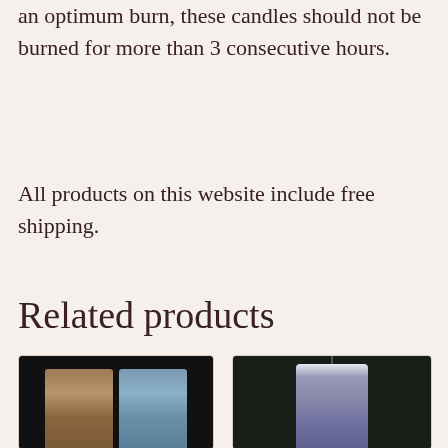an optimum burn, these candles should not be burned for more than 3 consecutive hours.
All products on this website include free shipping.
Related products
[Figure (photo): Two pillar candles side by side — one brown/tan and one light blue — against a dark background]
[Figure (photo): A single white/lavender pillar candle against a dark green background]